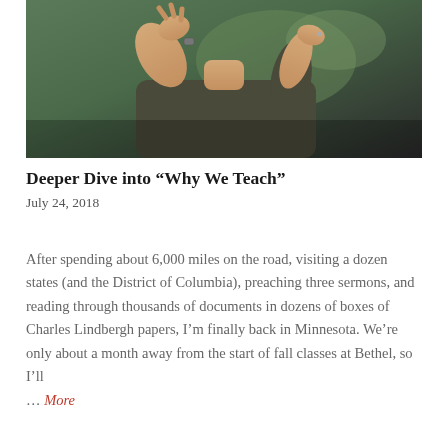[Figure (photo): A person with hands raised in a gesture, appearing to speak or explain something, photographed from chest up in front of a muted green/teal background.]
Deeper Dive into “Why We Teach”
July 24, 2018
After spending about 6,000 miles on the road, visiting a dozen states (and the District of Columbia), preaching three sermons, and reading through thousands of documents in dozens of boxes of Charles Lindbergh papers, I’m finally back in Minnesota. We’re only about a month away from the start of fall classes at Bethel, so I’ll ... More